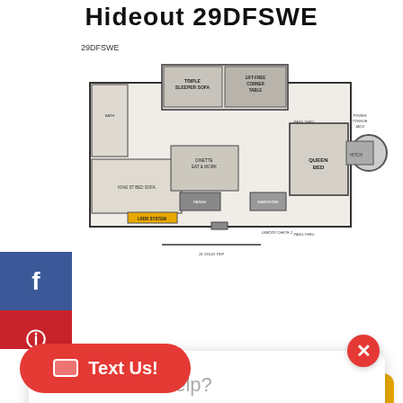Hideout 29DFSWE
[Figure (schematic): Floor plan diagram of the Hideout 29DFSWE travel trailer showing room layout including bunk beds, queen bed, kitchen, bathroom, and outdoor kitchen area. Label '29DFSWE' appears above the diagram.]
How can we help?
Text Us!
...deout travel trailer 29DFSWE highlights: Double-Size Bunks Outdoor ... more